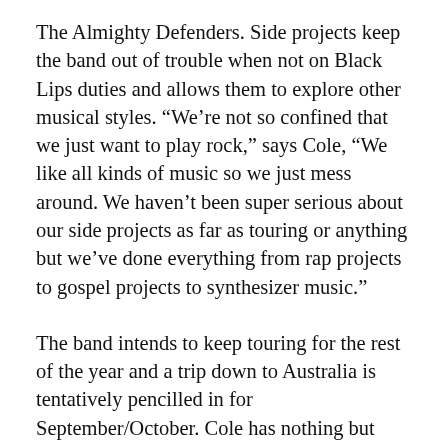The Almighty Defenders. Side projects keep the band out of trouble when not on Black Lips duties and allows them to explore other musical styles. “We’re not so confined that we just want to play rock,” says Cole, “We like all kinds of music so we just mess around. We haven’t been super serious about our side projects as far as touring or anything but we’ve done everything from rap projects to gospel projects to synthesizer music.”
The band intends to keep touring for the rest of the year and a trip down to Australia is tentatively pencilled in for September/October. Cole has nothing but good memories from their last tour here at the end of 2007. “We had a great time in Australia last time. We play a lot in Europe and I always feel like their heart is in electronic music but in Australia peoples heart is in rock music in general.”